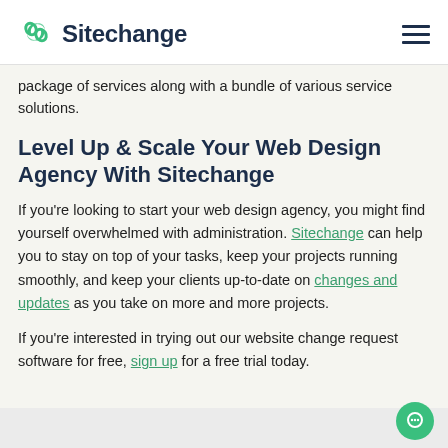Sitechange
package of services along with a bundle of various service solutions.
Level Up & Scale Your Web Design Agency With Sitechange
If you're looking to start your web design agency, you might find yourself overwhelmed with administration. Sitechange can help you to stay on top of your tasks, keep your projects running smoothly, and keep your clients up-to-date on changes and updates as you take on more and more projects.
If you're interested in trying out our website change request software for free, sign up for a free trial today.